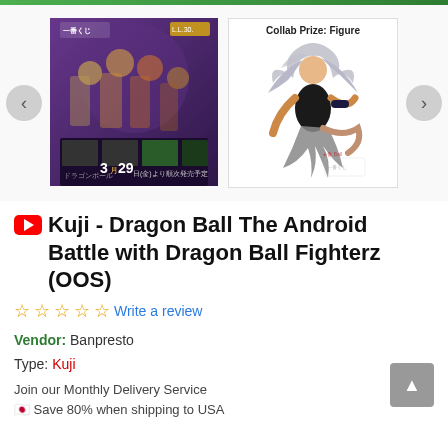[Figure (photo): Dragon Ball The Android Battle with Dragon Ball Fighterz Ichiban Kuji promotional poster showing multiple Dragon Ball characters on a purple/dark background with Japanese text and '3.29' date]
[Figure (photo): Collab Prize Figure: Dragon Ball female android/fighter character figure in dynamic flying pose with long silver hair, on white background with Ichiban Kuji watermark]
Kuji - Dragon Ball The Android Battle with Dragon Ball Fighterz (OOS)
Write a review
Vendor: Banpresto
Type: Kuji
Join our Monthly Delivery Service
🇯🇵 Save 80% when shipping to USA